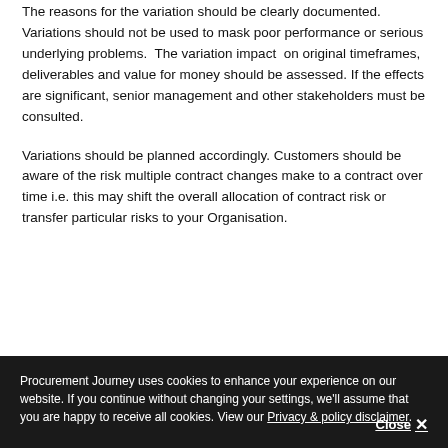The reasons for the variation should be clearly documented. Variations should not be used to mask poor performance or serious underlying problems. The variation impact on original timeframes, deliverables and value for money should be assessed. If the effects are significant, senior management and other stakeholders must be consulted.
Variations should be planned accordingly. Customers should be aware of the risk multiple contract changes make to a contract over time i.e. this may shift the overall allocation of contract risk or transfer particular risks to your Organisation.
Procurement Journey uses cookies to enhance your experience on our website. If you continue without changing your settings, we'll assume that you are happy to receive all cookies. View our Privacy & policy disclaimer. Close ✕